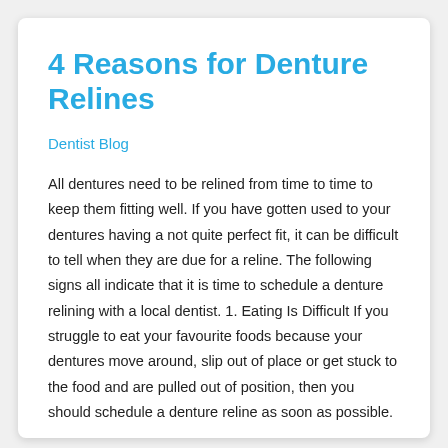4 Reasons for Denture Relines
Dentist Blog
All dentures need to be relined from time to time to keep them fitting well. If you have gotten used to your dentures having a not quite perfect fit, it can be difficult to tell when they are due for a reline. The following signs all indicate that it is time to schedule a denture relining with a local dentist. 1. Eating Is Difficult If you struggle to eat your favourite foods because your dentures move around, slip out of place or get stuck to the food and are pulled out of position, then you should schedule a denture reline as soon as possible.